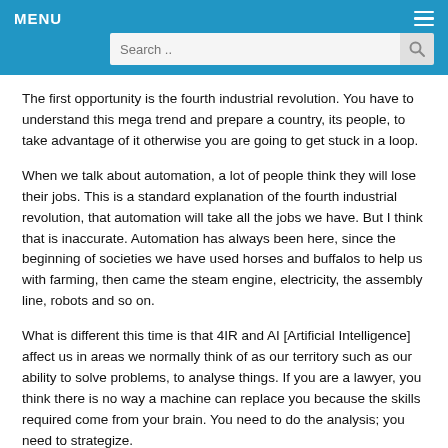MENU
The first opportunity is the fourth industrial revolution. You have to understand this mega trend and prepare a country, its people, to take advantage of it otherwise you are going to get stuck in a loop.
When we talk about automation, a lot of people think they will lose their jobs. This is a standard explanation of the fourth industrial revolution, that automation will take all the jobs we have. But I think that is inaccurate. Automation has always been here, since the beginning of societies we have used horses and buffalos to help us with farming, then came the steam engine, electricity, the assembly line, robots and so on.
What is different this time is that 4IR and AI [Artificial Intelligence] affect us in areas we normally think of as our territory such as our ability to solve problems, to analyse things. If you are a lawyer, you think there is no way a machine can replace you because the skills required come from your brain. You need to do the analysis; you need to strategize.